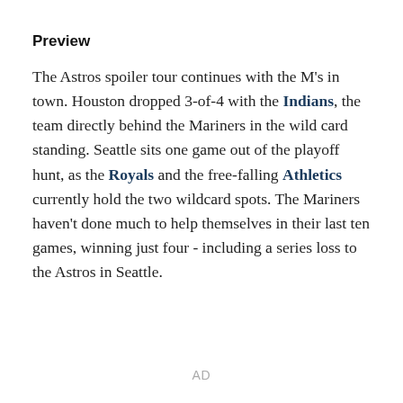Preview
The Astros spoiler tour continues with the M's in town. Houston dropped 3-of-4 with the Indians, the team directly behind the Mariners in the wild card standing. Seattle sits one game out of the playoff hunt, as the Royals and the free-falling Athletics currently hold the two wildcard spots. The Mariners haven't done much to help themselves in their last ten games, winning just four - including a series loss to the Astros in Seattle.
AD